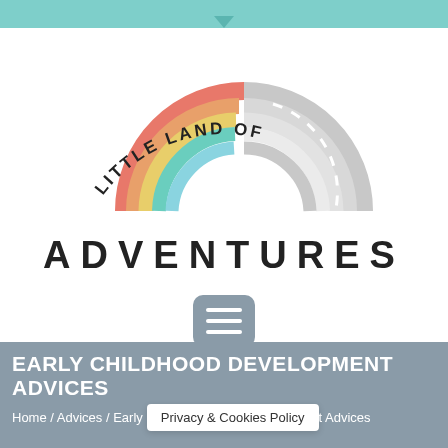Little Land of Adventures website header with teal bar and dropdown arrow
[Figure (logo): Little Land of Adventures logo: semicircular rainbow (coral, orange, yellow, teal, light blue arcs) on the left and a grey road arc on the right, with 'LITTLE LAND OF' text arched above]
ADVENTURES
[Figure (other): Grey rounded square hamburger menu button with three white horizontal lines]
EARLY CHILDHOOD DEVELOPMENT ADVICES
Home / Advices / Early ... t Advices
Privacy & Cookies Policy